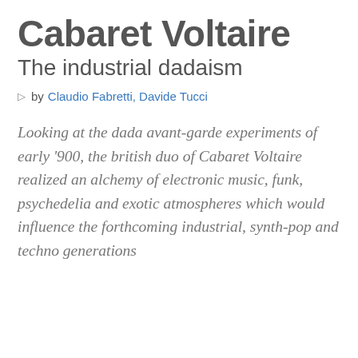Cabaret Voltaire
The industrial dadaism
by Claudio Fabretti, Davide Tucci
Looking at the dada avant-garde experiments of early '900, the british duo of Cabaret Voltaire realized an alchemy of electronic music, funk, psychedelia and exotic atmospheres which would influence the forthcoming industrial, synth-pop and techno generations